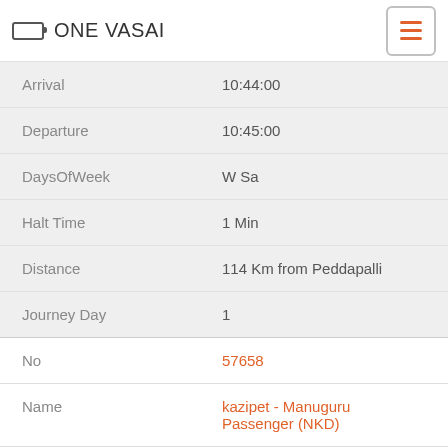ONE VASAI
| Field | Value |
| --- | --- |
| Arrival | 10:44:00 |
| Departure | 10:45:00 |
| DaysOfWeek | W Sa |
| Halt Time | 1 Min |
| Distance | 114 Km from Peddapalli |
| Journey Day | 1 |
| No | 57658 |
| Name | kazipet - Manuguru Passenger (NKD) |
| From | Kazipet Junction |
| To | Manuguru |
| Arrival | 13:49:00 |